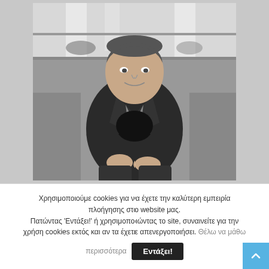[Figure (photo): Black and white portrait photo of a middle-aged man with short hair, wearing a dark jacket over a black t-shirt, sitting relaxed on a sofa/chair, smiling slightly at the camera. Indoor background with shelving.]
Χρησιμοποιούμε cookies για να έχετε την καλύτερη εμπειρία πλοήγησης στο website μας. Πατώντας 'Εντάξει!' ή χρησιμοποιώντας το site, συναινείτε για την χρήση cookies εκτός και αν τα έχετε απενεργοποιήσει. Θέλω να μάθω περισσότερα
Εντάξει!